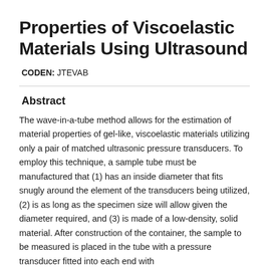Properties of Viscoelastic Materials Using Ultrasound
CODEN: JTEVAB
Abstract
The wave-in-a-tube method allows for the estimation of material properties of gel-like, viscoelastic materials utilizing only a pair of matched ultrasonic pressure transducers. To employ this technique, a sample tube must be manufactured that (1) has an inside diameter that fits snugly around the element of the transducers being utilized, (2) is as long as the specimen size will allow given the diameter required, and (3) is made of a low-density, solid material. After construction of the container, the sample to be measured is placed in the tube with a pressure transducer fitted into each end with